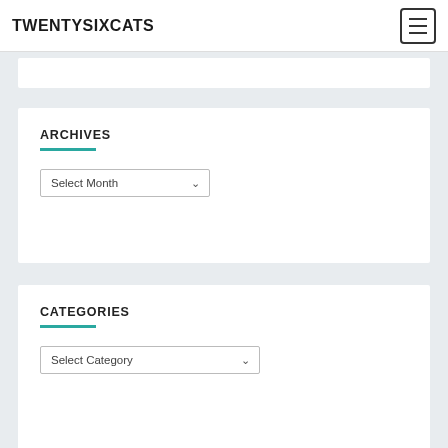TWENTYSIXCATS
ARCHIVES
Select Month
CATEGORIES
Select Category
BEST OF TWENTYSIXCATS